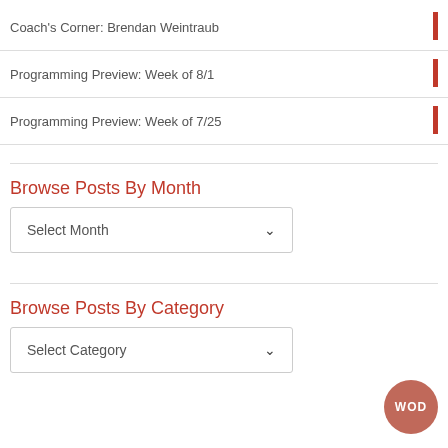Coach's Corner: Brendan Weintraub
Programming Preview: Week of 8/1
Programming Preview: Week of 7/25
Browse Posts By Month
Select Month
Browse Posts By Category
Select Category